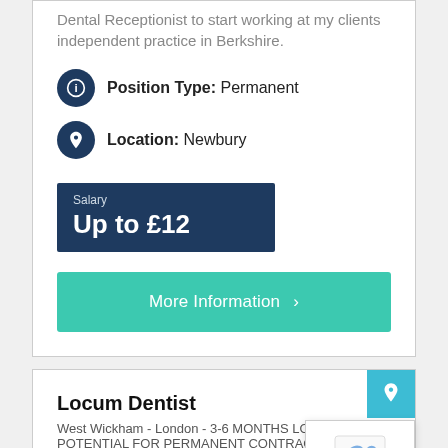Dental Receptionist to start working at my clients independent practice in Berkshire.
Position Type: Permanent
Location: Newbury
Salary
Up to £12
More Information >
Locum Dentist
West Wickham - London - 3-6 MONTHS LOCUM - POTENTIAL FOR PERMANENT CONTRACT! - WALKING...